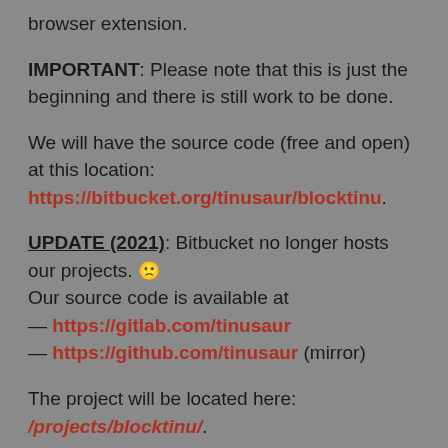browser extension.
IMPORTANT: Please note that this is just the beginning and there is still work to be done.
We will have the source code (free and open) at this location: https://bitbucket.org/tinusaur/blocktinu.
UPDATE (2021): Bitbucket no longer hosts our projects. 🙁
Our source code is available at
— https://gitlab.com/tinusaur
— https://github.com/tinusaur (mirror)
The project will be located here: /projects/blocktinu/.
The Blocktinu is using the Blockly library for handling the block in a browser.